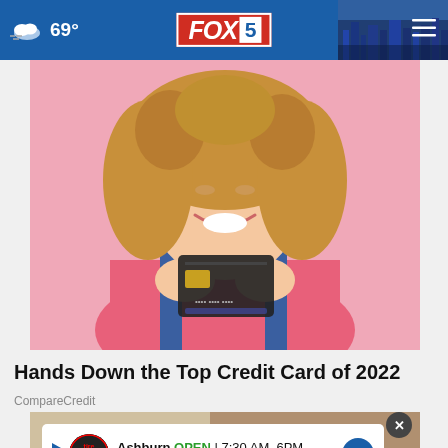69° FOX 5
[Figure (photo): Smiling young woman with curly hair holding a dark credit card in front of a pink background, wearing a pink top and denim overalls]
Hands Down the Top Credit Card of 2022
CompareCredit
[Figure (photo): Bottom advertisement showing Tire Auto store in Ashburn, OPEN 7:30 AM–6PM, 43781 Parkhurst Plaza, Ashburn]